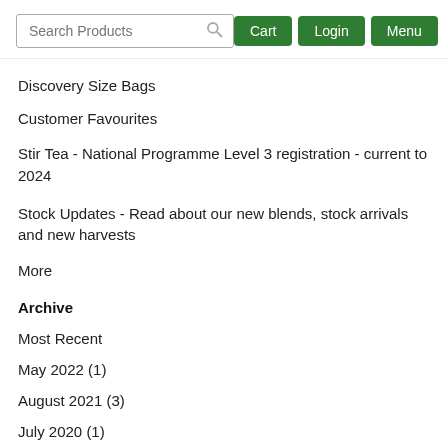Search Products | Cart | Login | Menu
Discovery Size Bags
Customer Favourites
Stir Tea - National Programme Level 3 registration - current to 2024
Stock Updates - Read about our new blends, stock arrivals and new harvests
More
Archive
Most Recent
May 2022 (1)
August 2021 (3)
July 2020 (1)